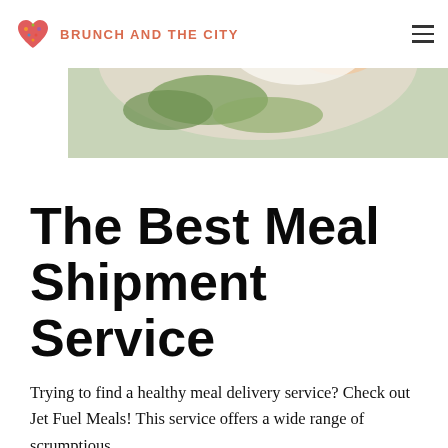BRUNCH AND THE CITY
[Figure (photo): Close-up food photo showing eggs and greens on a plate, partial view]
The Best Meal Shipment Service
Trying to find a healthy meal delivery service? Check out Jet Fuel Meals! This service offers a wide range of scrumptious